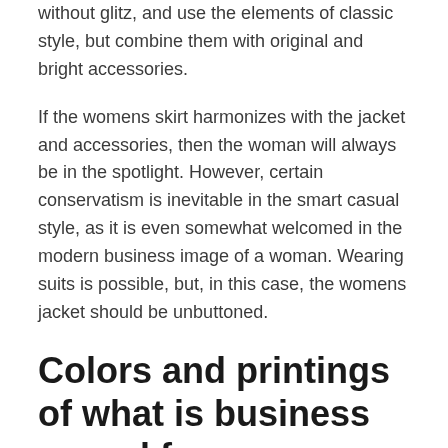without glitz, and use the elements of classic style, but combine them with original and bright accessories.
If the womens skirt harmonizes with the jacket and accessories, then the woman will always be in the spotlight. However, certain conservatism is inevitable in the smart casual style, as it is even somewhat welcomed in the modern business image of a woman. Wearing suits is possible, but, in this case, the womens jacket should be unbuttoned.
Colors and printings of what is business casual for women examples of
The classic palette of neutral colors is the main point of what is business casual for women examples of. It is about black, white, gray and brown colors and their